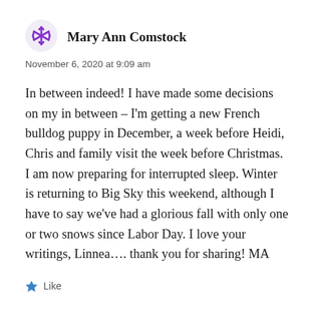[Figure (illustration): Purple snowflake/asterisk avatar icon for user Mary Ann Comstock]
Mary Ann Comstock
November 6, 2020 at 9:09 am
In between indeed! I have made some decisions on my in between – I'm getting a new French bulldog puppy in December, a week before Heidi, Chris and family visit the week before Christmas. I am now preparing for interrupted sleep. Winter is returning to Big Sky this weekend, although I have to say we've had a glorious fall with only one or two snows since Labor Day. I love your writings, Linnea…. thank you for sharing! MA
Like